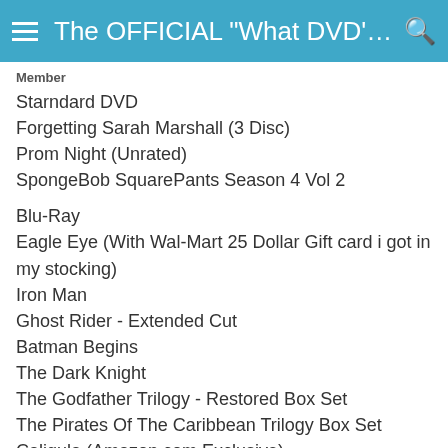≡ The OFFICIAL "What DVD's/BD'... 🔍
Member
Starndard DVD
Forgetting Sarah Marshall (3 Disc)
Prom Night (Unrated)
SpongeBob SquarePants Season 4 Vol 2
Blu-Ray
Eagle Eye (With Wal-Mart 25 Dollar Gift card i got in my stocking)
Iron Man
Ghost Rider - Extended Cut
Batman Begins
The Dark Knight
The Godfather Trilogy - Restored Box Set
The Pirates Of The Caribbean Trilogy Box Set
Caligula (Amazon.com Exclusive)
The Chronicles Of Narnia - The Lion, The Witch And The Watrdrobe